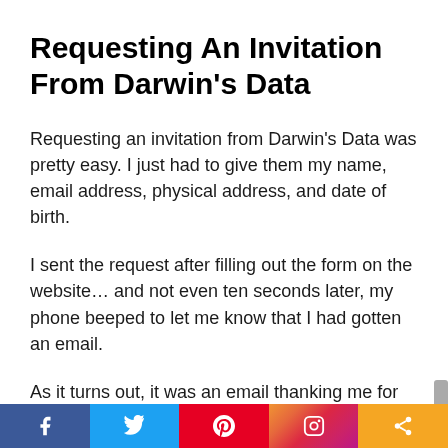Requesting An Invitation From Darwin’s Data
Requesting an invitation from Darwin’s Data was pretty easy. I just had to give them my name, email address, physical address, and date of birth.
I sent the request after filling out the form on the website… and not even ten seconds later, my phone beeped to let me know that I had gotten an email.
As it turns out, it was an email thanking me for requesting an invite. It basically said the
Facebook Twitter Pinterest Instagram Share